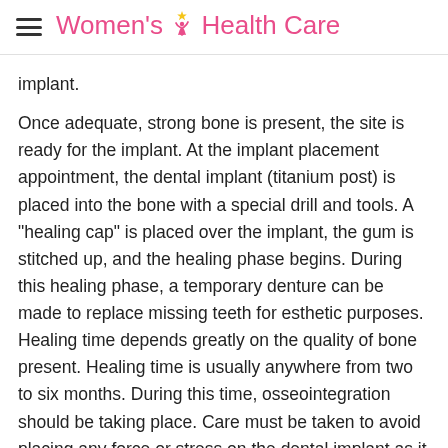Women's Health Care
implant.
Once adequate, strong bone is present, the site is ready for the implant. At the implant placement appointment, the dental implant (titanium post) is placed into the bone with a special drill and tools. A "healing cap" is placed over the implant, the gum is stitched up, and the healing phase begins. During this healing phase, a temporary denture can be made to replace missing teeth for esthetic purposes. Healing time depends greatly on the quality of bone present. Healing time is usually anywhere from two to six months. During this time, osseointegration should be taking place. Care must be taken to avoid placing any force or stress on the dental implant as it heals. Follow-up appointments to check the surgical site are typically done to ensure that no infection exists and